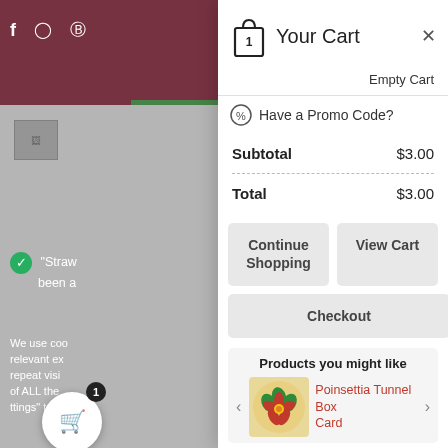[Figure (screenshot): Left background panel showing a website with a dark red/maroon top bar, social media icons (f, camera/instagram, P), a small image thumbnail, a green checkmark notification partially visible ('Straw... been a...'), and cookie consent text ('We use coo... relevant ex... repeat visi... of ALL the... ttings to...'). A shopping cart badge with number 1 is visible at bottom left.]
Your Cart
Empty Cart
Have a Promo Code?
|  |  |
| --- | --- |
| Subtotal | $3.00 |
| Total | $3.00 |
Continue Shopping
View Cart
Checkout
Products you might like
Poinsettia Tunnel Box Card